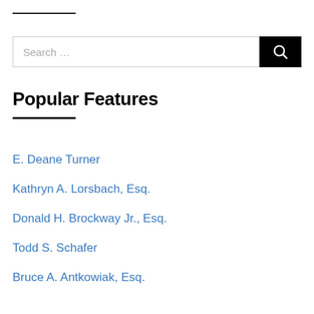[Figure (other): Short horizontal rule decorative line near top of page]
[Figure (other): Search bar with text 'Search ...' and black search button with magnifying glass icon]
Popular Features
E. Deane Turner
Kathryn A. Lorsbach, Esq.
Donald H. Brockway Jr., Esq.
Todd S. Schafer
Bruce A. Antkowiak, Esq.